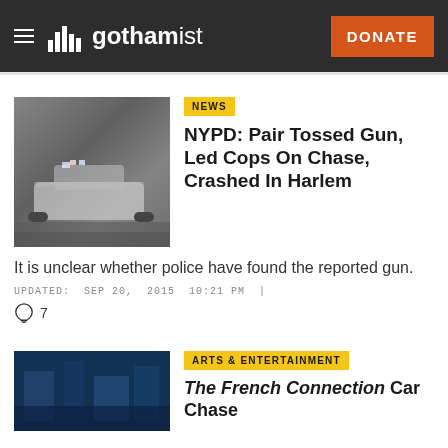gothamist — DONATE
[Figure (photo): NYPD police car driving on a wet street, gray tones]
NEWS
NYPD: Pair Tossed Gun, Led Cops On Chase, Crashed In Harlem
It is unclear whether police have found the reported gun.
UPDATED: SEP 20, 2015 10:21 PM | ○ 7
[Figure (photo): Dark blue-toned image for arts and entertainment article]
ARTS & ENTERTAINMENT
The French Connection Car Chase